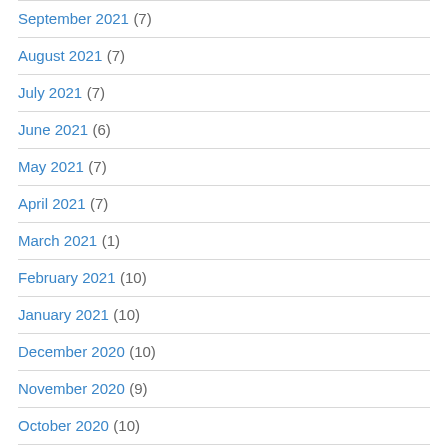September 2021 (7)
August 2021 (7)
July 2021 (7)
June 2021 (6)
May 2021 (7)
April 2021 (7)
March 2021 (1)
February 2021 (10)
January 2021 (10)
December 2020 (10)
November 2020 (9)
October 2020 (10)
September 2020 (10)